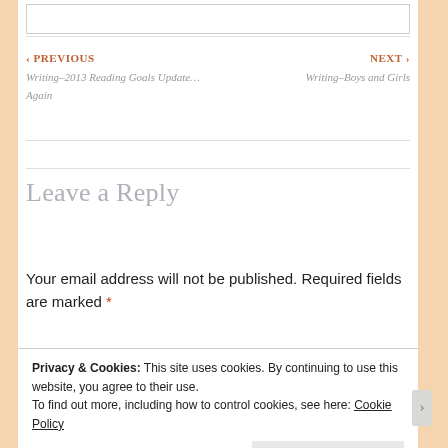[input box]
‹ PREVIOUS
Writing–2013 Reading Goals Update...Again
NEXT ›
Writing–Boys and Girls
Leave a Reply
Your email address will not be published. Required fields are marked *
Privacy & Cookies: This site uses cookies. By continuing to use this website, you agree to their use.
To find out more, including how to control cookies, see here: Cookie Policy
Close and accept